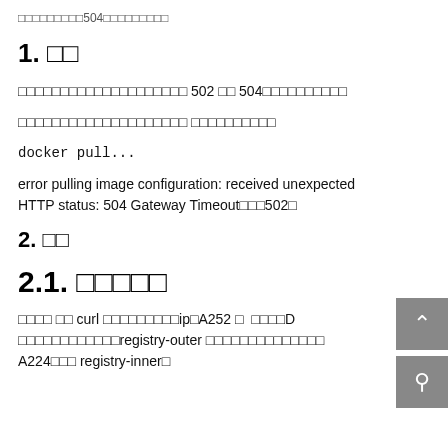□□□□□□□□504□□□□□□□□□
1. □□
□□□□□□□□□□□□□□□□□□□□ 502 □□ 504□□□□□□□□□□
□□□□□□□□□□□□□□□□□□□□ □□□□□□□□□□
docker pull...
error pulling image configuration: received unexpected HTTP status: 504 Gateway Timeout□□□502□
2. □□
2.1. □□□□□
□□□□ □□ curl □□□□□□□□□ip□A252 □  □□□□D □□□□□□□□□□□□registry-outer □□□□□□□□□□□□□□ A224□□□ registry-inner□